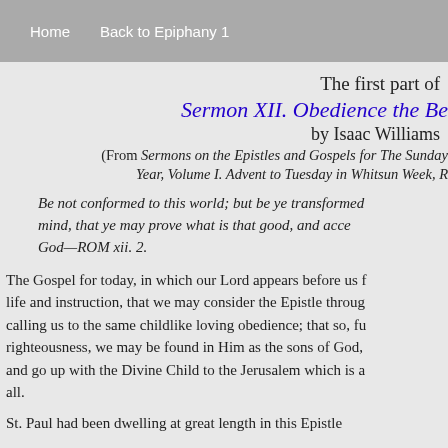Home   Back to Epiphany 1
The first part of
Sermon XII. Obedience the Be…
by Isaac Williams
(From Sermons on the Epistles and Gospels for The Sunday… Year, Volume I. Advent to Tuesday in Whitsun Week, R…
Be not conformed to this world; but be ye transformed… mind, that ye may prove what is that good, and acce… God—ROM xii. 2.
The Gospel for today, in which our Lord appears before us f… life and instruction, that we may consider the Epistle throug… calling us to the same childlike loving obedience; that so, fu… righteousness, we may be found in Him as the sons of God,… and go up with the Divine Child to the Jerusalem which is a… all.
St. Paul had been dwelling at great length in this Epistle…